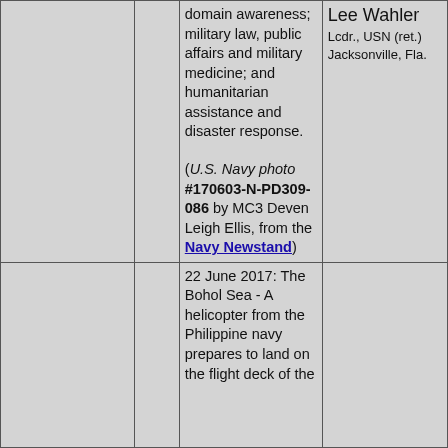| [image] |  | domain awareness; military law, public affairs and military medicine; and humanitarian assistance and disaster response.

(U.S. Navy photo #170603-N-PD309-086 by MC3 Deven Leigh Ellis, from the Navy Newstand) | Lee Wahler
Lcdr., USN (ret.)
Jacksonville, Fla. |
| [image] |  | 22 June 2017: The Bohol Sea - A helicopter from the Philippine navy prepares to land on the flight deck of the |  |